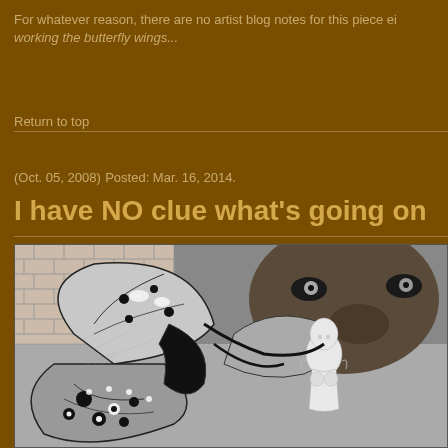For whatever reason, there are no artist blog notes for this piece ei working the butterfly wings...
Return to top
(Oct. 05, 2008) Posted: Mar. 16, 2014.
I have NO clue what's going on
[Figure (illustration): Black and white pencil/charcoal artwork showing a monkey or ape face in the upper right, large detailed butterfly wings on the left side, and a white classical female figure (Venus de Milo style) in the lower right center of the composition.]